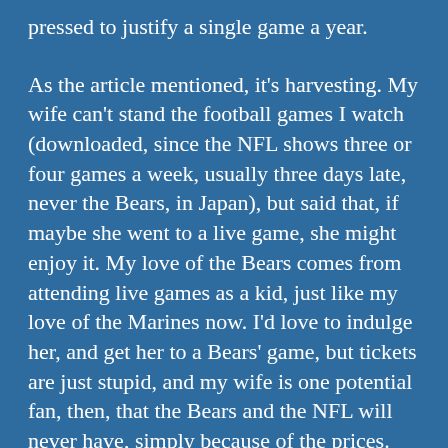pressed to justify a single game a year.
As the article mentioned, it's harvesting. My wife can't stand the football games I watch (downloaded, since the NFL shows three or four games a week, usually three days late, never the Bears, in Japan), but said that, if maybe she went to a live game, she might enjoy it. My love of the Bears comes from attending live games as a kid, just like my love of the Marines now. I'd love to indulge her, and get her to a Bears' game, but tickets are just stupid, and my wife is one potential fan, then, that the Bears and the NFL will never have, simply because of the prices.
posted by Ghidorah at 6:14 PM on October 9, 2009 [2 favorites]
These practices have pretty much eliminated streakers and Morganna appearances and I think we're the worse for it. The only way in which you could get anything similar to the